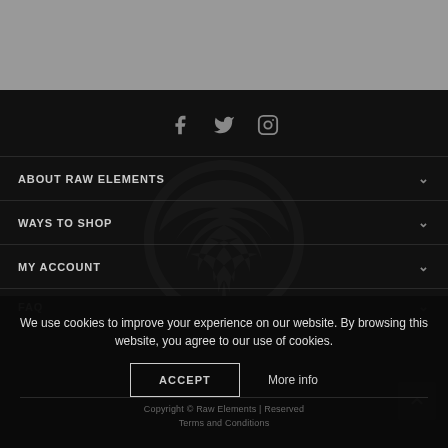[Figure (screenshot): Gray banner area at top of page representing a website header]
[Figure (illustration): Social media icons: Facebook (f), Twitter (bird), Instagram (camera) displayed in gray on dark background]
ABOUT RAW ELEMENTS
WAYS TO SHOP
MY ACCOUNT
FAQ
[Figure (logo): Dark watermark logo of Raw Elements - stylized circular shell/swirl design in dark gray on black background]
We use cookies to improve your experience on our website. By browsing this website, you agree to our use of cookies.
ACCEPT
More info
Copyright © Raw Elements | Terms and Conditions